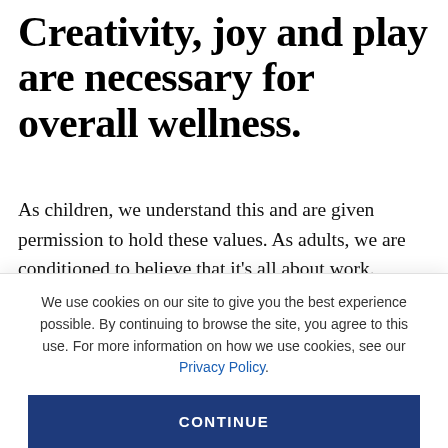Creativity, joy and play are necessary for overall wellness.
As children, we understand this and are given permission to hold these values. As adults, we are conditioned to believe that it's all about work. Getting up early, commuting to work, making money, and paying taxes until we die. It's no wonder this societal model makes it so hard to leave our hearts open to
We use cookies on our site to give you the best experience possible. By continuing to browse the site, you agree to this use. For more information on how we use cookies, see our Privacy Policy.
CONTINUE